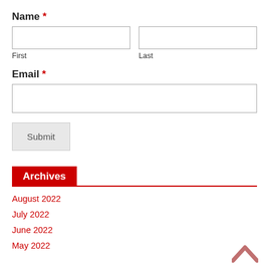Name *
First
Last
Email *
Submit
Archives
August 2022
July 2022
June 2022
May 2022